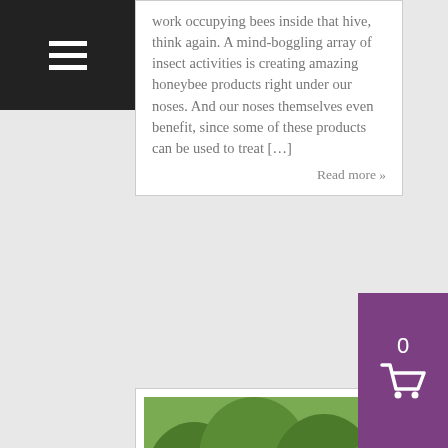Hamburger menu icon
work occupying bees inside that hive, think again. A mind-boggling array of insect activities is creating amazing honeybee products right under our noses. And our noses themselves even benefit, since some of these products can be used to treat […]
Read more »
[Figure (photo): Two beekeepers in white protective suits and veiled hats tending to wooden beehives outdoors, surrounded by green trees and grass.]
0
[Figure (other): Purple shopping cart icon widget showing count 0]